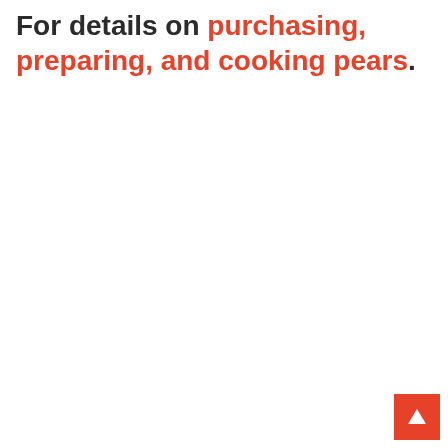For details on purchasing, preparing, and cooking pears.